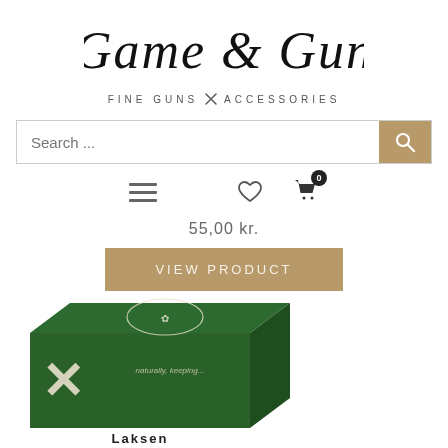[Figure (logo): Game & Gun logo with script lettering and 'FINE GUNS X ACCESSORIES' subtitle]
Search ...
55,00 kr.
VIEW PRODUCT
[Figure (photo): Green Laksen product box with decorative white emblem/crest design, partially cropped at bottom of page]